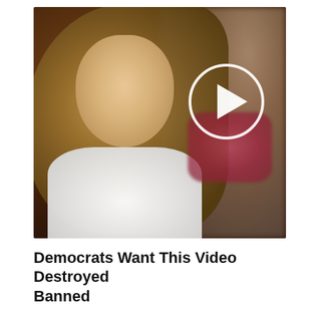[Figure (photo): Photo of a woman with long blonde hair wearing a white turtleneck top, looking to the left. A blurred person is visible in the background on the right. A video play button (circle with triangle) is overlaid in the upper-right area of the image.]
Democrats Want This Video Destroyed Banned